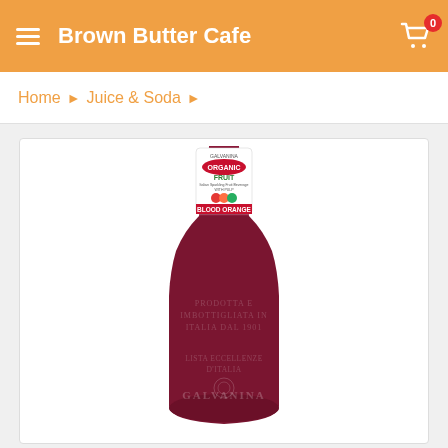Brown Butter Cafe
Home > Juice & Soda >
[Figure (photo): A dark red/purple glass bottle of Galvanina Organic Fruit Blood Orange Italian sparkling beverage with pulp. The bottle has embossed text and decorative elements. The label at the top reads 'GALVANINA ORGANIC FRUIT Italian Sparkling Fruit Beverage WITH PULP BLOOD ORANGE'.]